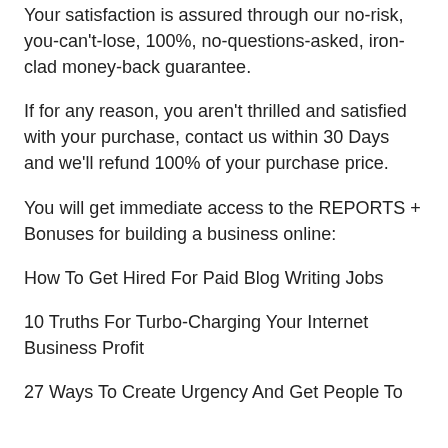Your satisfaction is assured through our no-risk, you-can't-lose, 100%, no-questions-asked, iron-clad money-back guarantee.
If for any reason, you aren't thrilled and satisfied with your purchase, contact us within 30 Days and we'll refund 100% of your purchase price.
You will get immediate access to the REPORTS + Bonuses for building a business online:
How To Get Hired For Paid Blog Writing Jobs
10 Truths For Turbo-Charging Your Internet Business Profit
27 Ways To Create Urgency And Get People To